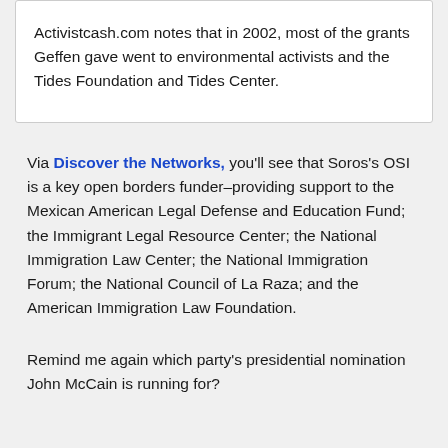Activistcash.com notes that in 2002, most of the grants Geffen gave went to environmental activists and the Tides Foundation and Tides Center.
Via Discover the Networks, you'll see that Soros's OSI is a key open borders funder–providing support to the Mexican American Legal Defense and Education Fund; the Immigrant Legal Resource Center; the National Immigration Law Center; the National Immigration Forum; the National Council of La Raza; and the American Immigration Law Foundation.
Remind me again which party's presidential nomination John McCain is running for?